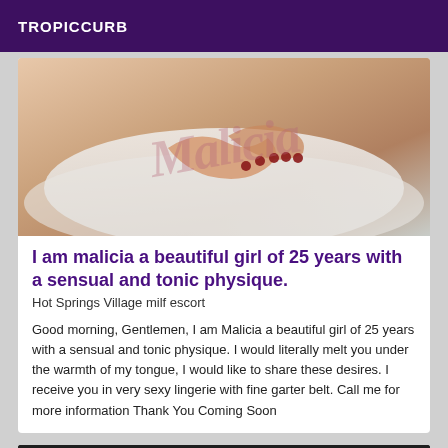TROPICCURB
[Figure (photo): Photo of a woman on a bed with white bedding, hands with red nails visible, watermark text 'Malicia' overlaid in pink cursive script]
I am malicia a beautiful girl of 25 years with a sensual and tonic physique.
Hot Springs Village milf escort
Good morning, Gentlemen, I am Malicia a beautiful girl of 25 years with a sensual and tonic physique. I would literally melt you under the warmth of my tongue, I would like to share these desires. I receive you in very sexy lingerie with fine garter belt. Call me for more information Thank You Coming Soon
[Figure (photo): Dark/black photo partially visible at the bottom of the page]